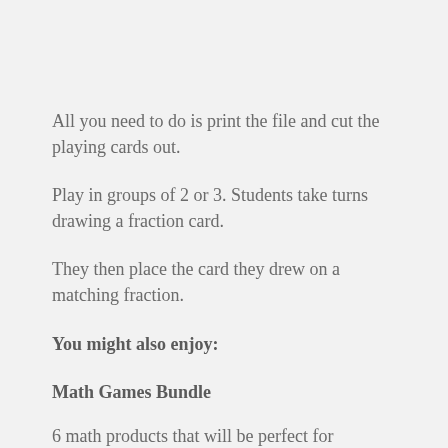All you need to do is print the file and cut the playing cards out.
Play in groups of 2 or 3. Students take turns drawing a fraction card.
They then place the card they drew on a matching fraction.
You might also enjoy:
Math Games Bundle
6 math products that will be perfect for students in